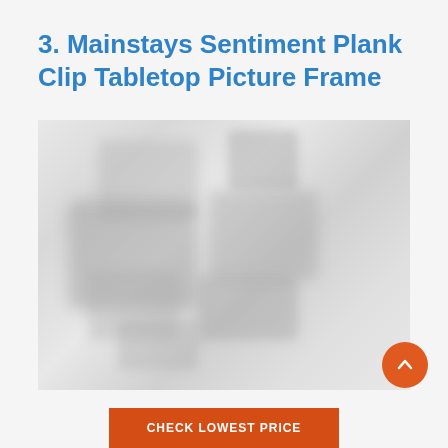3. Mainstays Sentiment Plank Clip Tabletop Picture Frame
[Figure (photo): Blurred/redacted product photo of the Mainstays Sentiment Plank Clip Tabletop Picture Frame]
CHECK LOWEST PRICE